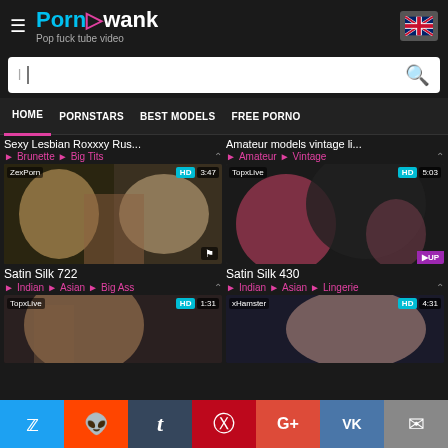PornAwank - Pop fuck tube video
HOME | PORNSTARS | BEST MODELS | FREE PORNO
Sexy Lesbian Roxxxy Rus... | Amateur models vintage li...
Brunette | Big Tits | Amateur | Vintage
[Figure (screenshot): Video thumbnail: Satin Silk 722, ZexPorn, HD 3:47]
[Figure (screenshot): Video thumbnail: Satin Silk 430, TopxLive, HD 5:03]
Satin Silk 722
Indian | Asian | Big Ass
Satin Silk 430
Indian | Asian | Lingerie
[Figure (screenshot): Partial video thumbnail: TopxLive, HD 1:31]
[Figure (screenshot): Partial video thumbnail: xHamster, HD 4:31]